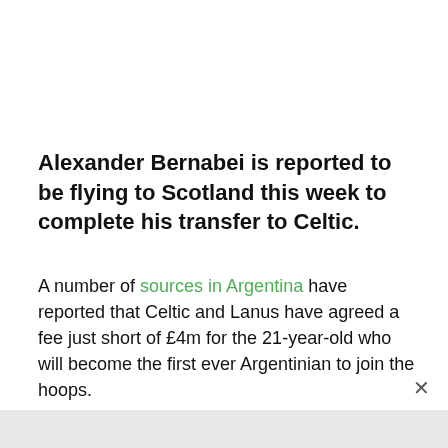Alexander Bernabei is reported to be flying to Scotland this week to complete his transfer to Celtic.
A number of sources in Argentina have reported that Celtic and Lanus have agreed a fee just short of £4m for the 21-year-old who will become the first ever Argentinian to join the hoops.
Mohaned Jeaze of Hammerby had been linked with a